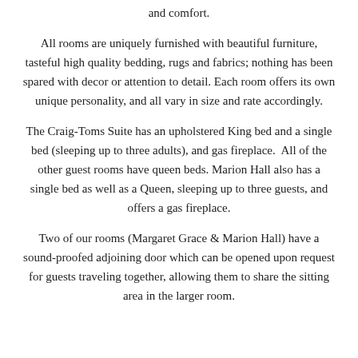and comfort.
All rooms are uniquely furnished with beautiful furniture, tasteful high quality bedding, rugs and fabrics; nothing has been spared with decor or attention to detail. Each room offers its own unique personality, and all vary in size and rate accordingly.
The Craig-Toms Suite has an upholstered King bed and a single bed (sleeping up to three adults), and gas fireplace.  All of the other guest rooms have queen beds. Marion Hall also has a single bed as well as a Queen, sleeping up to three guests, and offers a gas fireplace.
Two of our rooms (Margaret Grace & Marion Hall) have a sound-proofed adjoining door which can be opened upon request for guests traveling together, allowing them to share the sitting area in the larger room.